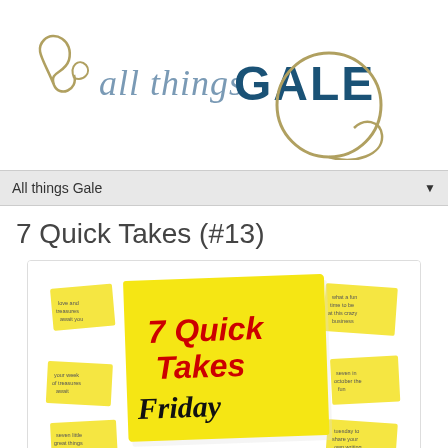[Figure (logo): All things Gale logo with decorative swirl and gold circle]
All things Gale
7 Quick Takes (#13)
[Figure (illustration): 7 Quick Takes Friday sticky note image hosted at ConversionDiary.com, showing a large yellow sticky note with red and black text surrounded by smaller yellow sticky notes]